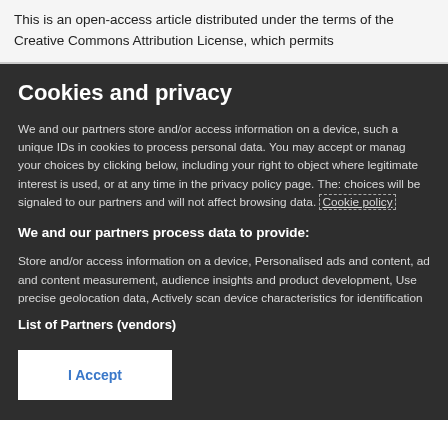This is an open-access article distributed under the terms of the Creative Commons Attribution License, which permits
Cookies and privacy
We and our partners store and/or access information on a device, such a unique IDs in cookies to process personal data. You may accept or manage your choices by clicking below, including your right to object where legitimate interest is used, or at any time in the privacy policy page. These choices will be signaled to our partners and will not affect browsing data. Cookie policy
We and our partners process data to provide:
Store and/or access information on a device, Personalised ads and content, ad and content measurement, audience insights and product development, Use precise geolocation data, Actively scan device characteristics for identification
List of Partners (vendors)
I Accept